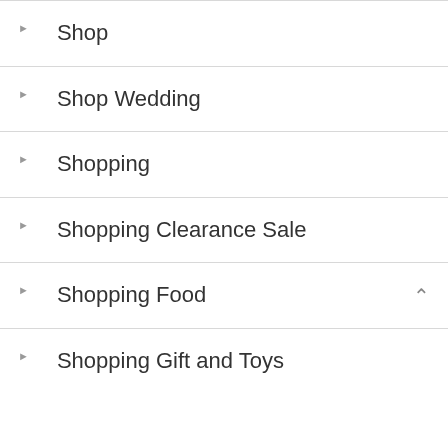Shop
Shop Wedding
Shopping
Shopping Clearance Sale
Shopping Food
Shopping Gift and Toys